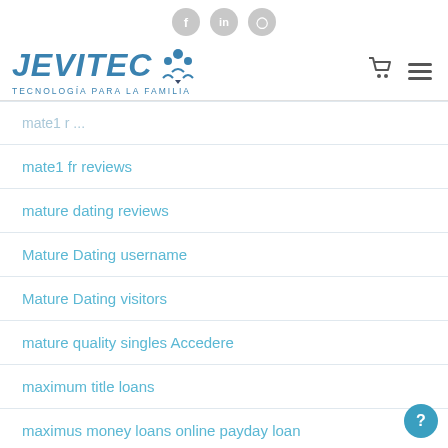JEVITEC - TECNOLOGÍA PARA LA FAMILIA
mate1 fr reviews
mature dating reviews
Mature Dating username
Mature Dating visitors
mature quality singles Accedere
maximum title loans
maximus money loans online payday loan
maximus money loans payday loans